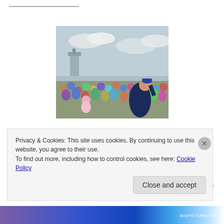[Figure (photo): Crowd of people outdoors at an airshow or launch event, looking up at the sky. A person in a dark jacket in the foreground cranes their neck upward. A control tower visible in background.]
Is Space Law Really That Far Over Your Head? | bigpictureone    Space Law introduction, case studies, space port launch sites, space debris, asteroid mining includes history of the modern rocket program. — Multimedia essay, eLearning, STEM &
Privacy & Cookies: This site uses cookies. By continuing to use this website, you agree to their use.
To find out more, including how to control cookies, see here: Cookie Policy
Close and accept